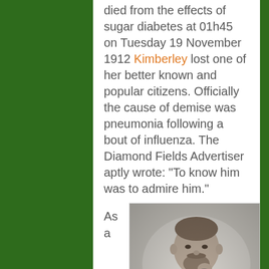died from the effects of sugar diabetes at 01h45 on Tuesday 19 November 1912 Kimberley lost one of her better known and popular citizens. Officially the cause of demise was pneumonia following a bout of influenza. The Diamond Fields Advertiser aptly wrote: “To know him was to admire him.”
As a
[Figure (photo): Black and white portrait photograph of a man with a beard and mustache, wearing a suit with a flower in the lapel, posed with his hand near his chin.]